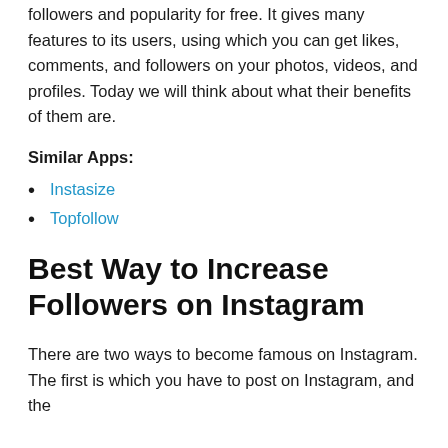followers and popularity for free. It gives many features to its users, using which you can get likes, comments, and followers on your photos, videos, and profiles. Today we will think about what their benefits of them are.
Similar Apps:
Instasize
Topfollow
Best Way to Increase Followers on Instagram
There are two ways to become famous on Instagram. The first is which you have to post on Instagram, and the